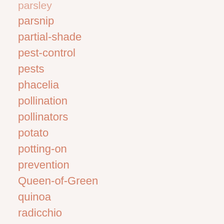parsley
parsnip
partial-shade
pest-control
pests
phacelia
pollination
pollinators
potato
potting-on
prevention
Queen-of-Green
quinoa
radicchio